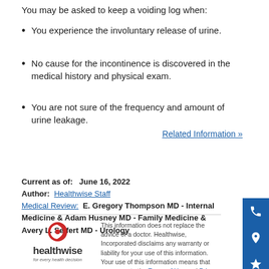You may be asked to keep a voiding log when:
You experience the involuntary release of urine.
No cause for the incontinence is discovered in the medical history and physical exam.
You are not sure of the frequency and amount of urine leakage.
Related Information »
Current as of:   June 16, 2022
Author:  Healthwise Staff
Medical Review:  E. Gregory Thompson MD - Internal Medicine & Adam Husney MD - Family Medicine & Avery L. Seifert MD - Urology
This information does not replace the advice of a doctor. Healthwise, Incorporated disclaims any warranty or liability for your use of this information. Your use of this information means that you agree to the Terms of Use and Privacy Policy. Learn how we develop our content.